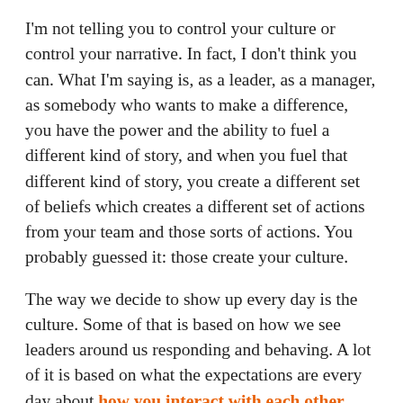I'm not telling you to control your culture or control your narrative. In fact, I don't think you can. What I'm saying is, as a leader, as a manager, as somebody who wants to make a difference, you have the power and the ability to fuel a different kind of story, and when you fuel that different kind of story, you create a different set of beliefs which creates a different set of actions from your team and those sorts of actions. You probably guessed it: those create your culture.
The way we decide to show up every day is the culture. Some of that is based on how we see leaders around us responding and behaving. A lot of it is based on what the expectations are every day about how you interact with each other.
So if you're a leader and you've been thinking, "Hey, I want to start thinking about culture in a different way. But we can't get the insurance to do a slip and